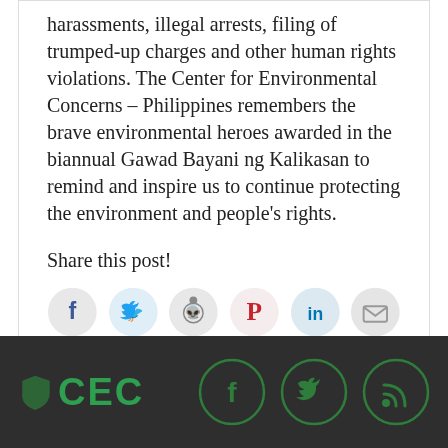harassments, illegal arrests, filing of trumped-up charges and other human rights violations. The Center for Environmental Concerns – Philippines remembers the brave environmental heroes awarded in the biannual Gawad Bayani ng Kalikasan to remind and inspire us to continue protecting the environment and people's rights.
Share this post!
[Figure (infographic): Social share buttons: Facebook, Twitter, Reddit, Pinterest, LinkedIn, Email]
[Figure (logo): CEC (Center for Environmental Concerns) logo in green with small icon, and footer social icons for Facebook, Twitter, RSS feed on dark background]